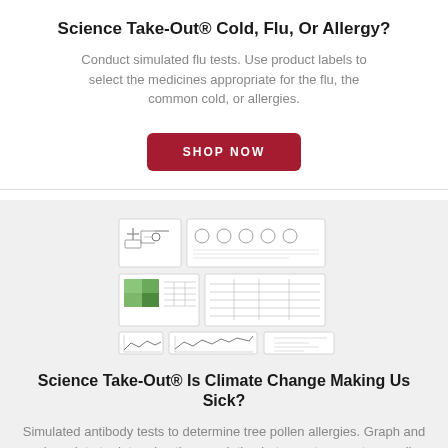Science Take-Out® Cold, Flu, Or Allergy?
Conduct simulated flu tests. Use product labels to select the medicines appropriate for the flu, the common cold, or allergies.
[Figure (other): Red rounded rectangle button with white uppercase text 'SHOP NOW']
[Figure (photo): Product image showing multiple printed lab activity sheets and forms for Science Take-Out Is Climate Change Making Us Sick activity kit]
Science Take-Out® Is Climate Change Making Us Sick?
Simulated antibody tests to determine tree pollen allergies. Graph and analyze data to determine the correlation between temperature, pollen counts, and allergic symptoms.